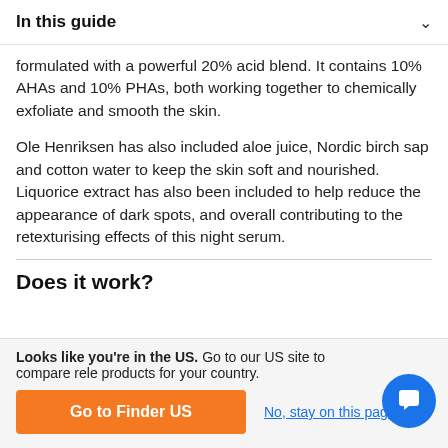In this guide
formulated with a powerful 20% acid blend. It contains 10% AHAs and 10% PHAs, both working together to chemically exfoliate and smooth the skin.
Ole Henriksen has also included aloe juice, Nordic birch sap and cotton water to keep the skin soft and nourished. Liquorice extract has also been included to help reduce the appearance of dark spots, and overall contributing to the retexturising effects of this night serum.
Does it work?
Looks like you're in the US. Go to our US site to compare rele products for your country.
Go to Finder US
No, stay on this page